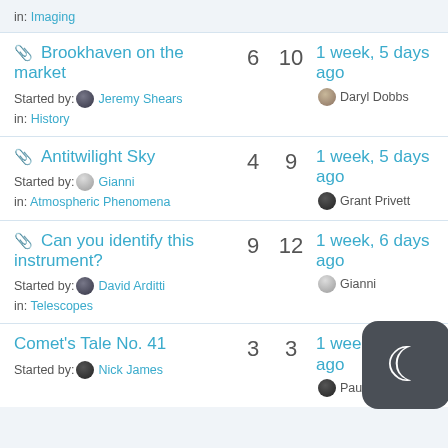in: Imaging
📎 Brookhaven on the market | 6 | 10 | 1 week, 5 days ago | Started by: Jeremy Shears | in: History | Daryl Dobbs
📎 Antitwilight Sky | 4 | 9 | 1 week, 5 days ago | Started by: Gianni | in: Atmospheric Phenomena | Grant Privett
📎 Can you identify this instrument? | 9 | 12 | 1 week, 6 days ago | Started by: David Arditti | in: Telescopes | Gianni
Comet's Tale No. 41 | 3 | 3 | 1 week, days ago | Started by: Nick James | Paul Leyland